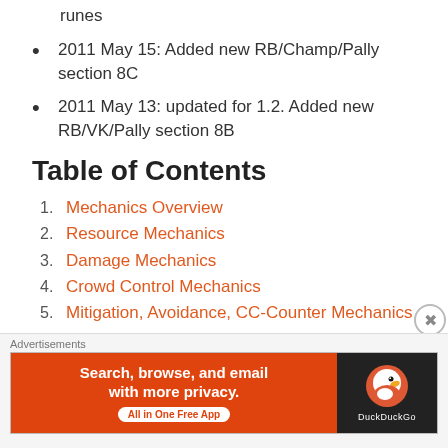runes
2011 May 15: Added new RB/Champ/Pally section 8C
2011 May 13: updated for 1.2. Added new RB/VK/Pally section 8B
Table of Contents
1. Mechanics Overview
2. Resource Mechanics
3. Damage Mechanics
4. Crowd Control Mechanics
5. Mitigation, Avoidance, CC-Counter Mechanics
6. Blade and Avatar Mechanics
7. Riftblade Tree Recommendations
8. Spec Combinations
9. Stats / Runes Recommendations
Advertisements
[Figure (screenshot): DuckDuckGo advertisement banner: Search, browse, and email with more privacy. All in One Free App. DuckDuckGo logo on dark background.]